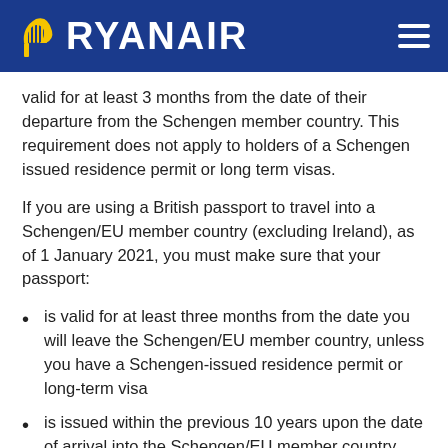RYANAIR
valid for at least 3 months from the date of their departure from the Schengen member country. This requirement does not apply to holders of a Schengen issued residence permit or long term visas.
If you are using a British passport to travel into a Schengen/EU member country (excluding Ireland), as of 1 January 2021, you must make sure that your passport:
is valid for at least three months from the date you will leave the Schengen/EU member country, unless you have a Schengen-issued residence permit or long-term visa
is issued within the previous 10 years upon the date of arrival into the Schengen/EU member country